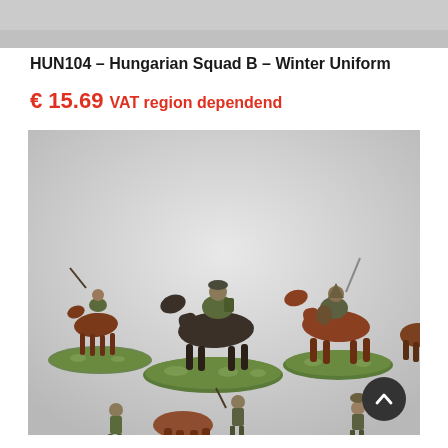[Figure (photo): Top cropped product photo strip showing miniature figures background]
HUN104 – Hungarian Squad B – Winter Uniform
€ 15.69 VAT region dependend
[Figure (photo): Painted 28mm miniature wargaming figures of Hungarian cavalry and infantry soldiers in winter uniform, mounted on scenic oval bases with grass tufts, on a white/grey background. Includes mounted cavalry figures on horses and infantry foot soldiers.]